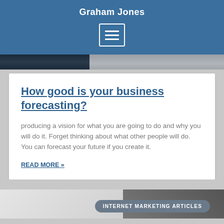Graham Jones
How good is your business forecasting?
producing a vision for what you are going to do and why you will do it. Forget thinking about what other people will do. You can forecast your future if you create it.
READ MORE »
INTERNET MARKETING ARTICLES